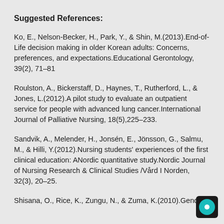Suggested References:
Ko, E., Nelson-Becker, H., Park, Y., & Shin, M.(2013).End-of-Life decision making in older Korean adults: Concerns, preferences, and expectations.Educational Gerontology, 39(2), 71–81
Roulston, A., Bickerstaff, D., Haynes, T., Rutherford, L., & Jones, L.(2012).A pilot study to evaluate an outpatient service for people with advanced lung cancer.International Journal of Palliative Nursing, 18(5),225–233.
Sandvik, A., Melender, H., Jonsén, E., Jönsson, G., Salmu, M., & Hilli, Y.(2012).Nursing students' experiences of the first clinical education: ANordic quantitative study.Nordic Journal of Nursing Research & Clinical Studies /Vård I Norden, 32(3), 20–25.
Shisana, O., Rice, K., Zungu, N., & Zuma, K.(2010).Gender